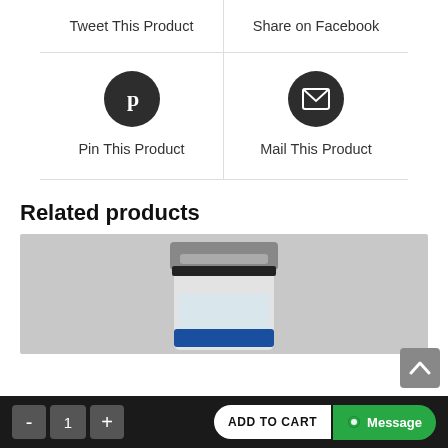Tweet This Product
Share on Facebook
[Figure (illustration): Pinterest icon (P) in dark circle]
Pin This Product
[Figure (illustration): Mail/envelope icon in dark circle]
Mail This Product
Related products
[Figure (photo): Glass vial with silver/metal top and blue label, containing clear liquid]
ADD TO CART   Message